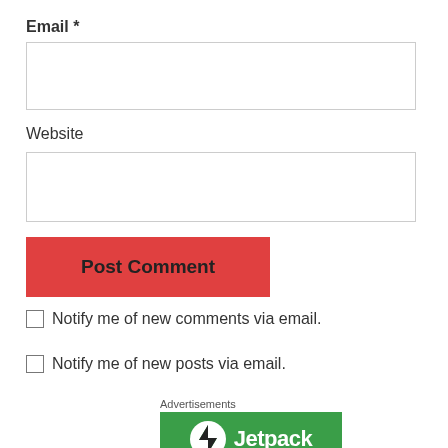Email *
[Figure (screenshot): Empty email text input box]
Website
[Figure (screenshot): Empty website text input box]
[Figure (screenshot): Red 'Post Comment' button]
Notify me of new comments via email.
Notify me of new posts via email.
Advertisements
[Figure (logo): Jetpack logo on green background]